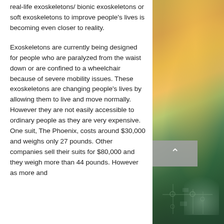real-life exoskeletons/ bionic exoskeletons or soft exoskeletons to improve people's lives is becoming even closer to reality.
Exoskeletons are currently being designed for people who are paralyzed from the waist down or are confined to a wheelchair because of severe mobility issues. These exoskeletons are changing people's lives by allowing them to live and move normally. However they are not easily accessible to ordinary people as they are very expensive. One suit, The Phoenix, costs around $30,000 and weighs only 27 pounds. Other companies sell their suits for $80,000 and they weigh more than 44 pounds. However as more and
[Figure (photo): Blurred background photo showing warm orange/yellow bokeh light at the top and dark green tones at the bottom, suggesting an outdoor or nature scene with circuit board elements visible at the lower portion.]